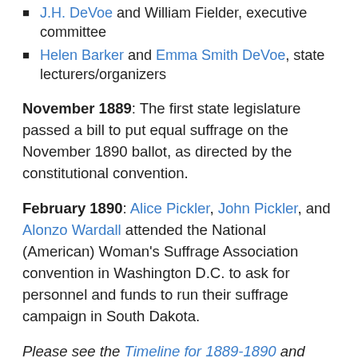J.H. DeVoe and William Fielder, executive committee
Helen Barker and Emma Smith DeVoe, state lecturers/organizers
November 1889: The first state legislature passed a bill to put equal suffrage on the November 1890 ballot, as directed by the constitutional convention.
February 1890: Alice Pickler, John Pickler, and Alonzo Wardall attended the National (American) Woman's Suffrage Association convention in Washington D.C. to ask for personnel and funds to run their suffrage campaign in South Dakota.
Please see the Timeline for 1889-1890 and Invaluable Out-of-Staters for more on the campaign activity and speakers.